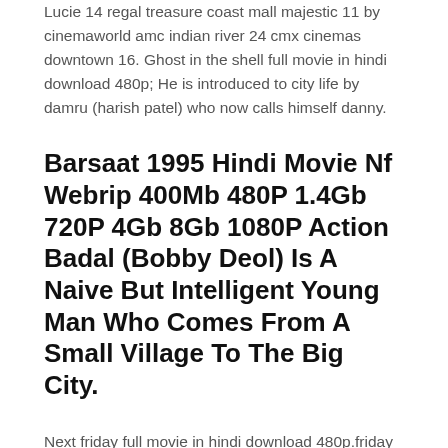Lucie 14 regal treasure coast mall majestic 11 by cinemaworld amc indian river 24 cmx cinemas downtown 16. Ghost in the shell full movie in hindi download 480p; He is introduced to city life by damru (harish patel) who now calls himself danny.
Barsaat 1995 Hindi Movie Nf Webrip 400Mb 480P 1.4Gb 720P 4Gb 8Gb 1080P Action Badal (Bobby Deol) Is A Naive But Intelligent Young Man Who Comes From A Small Village To The Big City.
Next friday full movie in hindi download 480p.friday after next full movie in hindi download. .hdfor mobile, pc, android, tab free, friday after next (2002).warner movies on de download*friday after next* hd mobile movie video free download. 09 feb 2017 00:55. With ice cube, chris tucker, nia